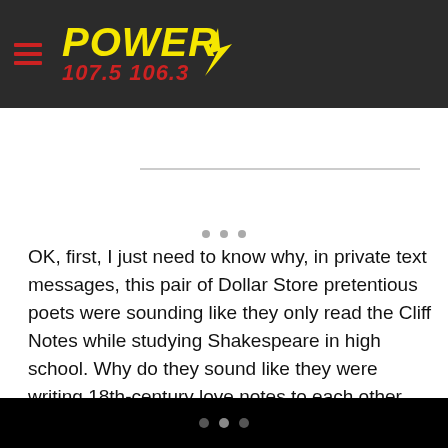POWER 107.5 106.3
OK, first, I just need to know why, in private text messages, this pair of Dollar Store pretentious poets were sounding like they only read the Cliff Notes while studying Shakespeare in high school. Why do they sound like they were writing 18th-century love notes to each other that didn’t make it into Hamilton because even Lin-Manuel Miranda couldn’t make a decent bop out of their clumsy, pseudo-sophisticated prose full of extra
• • •